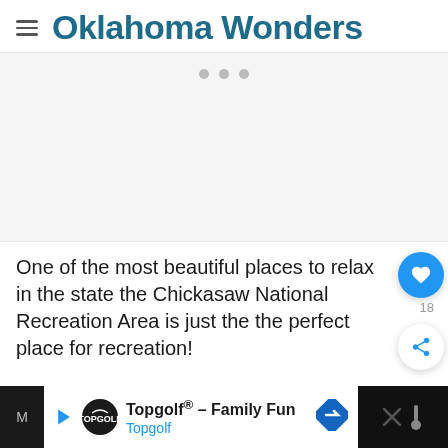Oklahoma Wonders
[Figure (other): Image carousel placeholder area with three gray dot indicators at the top, large empty gray content area below]
One of the most beautiful places to relax in the state the Chickasaw National Recreation Area is just the perfect place for recreation!
[Figure (screenshot): Advertisement banner: Topgolf® - Family Fun, Topgolf logo, blue navigation arrow icon, dark close area on right]